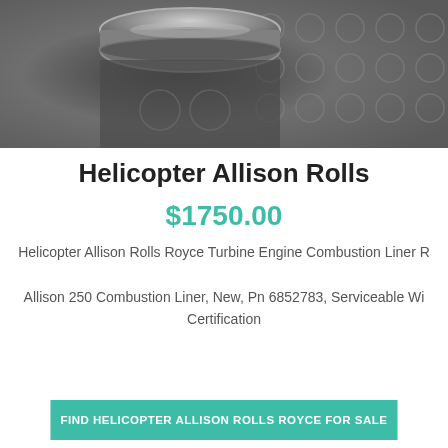[Figure (photo): Close-up photo of a metallic helicopter turbine engine combustion liner component against a dark textured background with circular dot pattern]
Helicopter Allison Rolls
$1750.00
Helicopter Allison Rolls Royce Turbine Engine Combustion Liner R
Allison 250 Combustion Liner, New, Pn 6852783, Serviceable Wi Certification
FIND HELICOPTER ALLISON ROLLS ROYCE FOR SALE